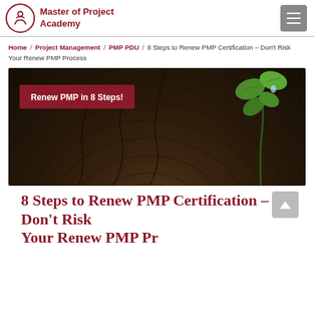Master of Project Academy
Home / Project Management / PMP PDU / 8 Steps to Renew PMP Certification – Don't Risk Your Renew PMP Process
[Figure (photo): Hero image of a green seedling sprouting from a cracked wooden log surface, with a dark red banner overlay reading 'Renew PMP in 8 Steps!']
8 Steps to Renew PMP Certification – Don't Risk Your Renew PMP Process